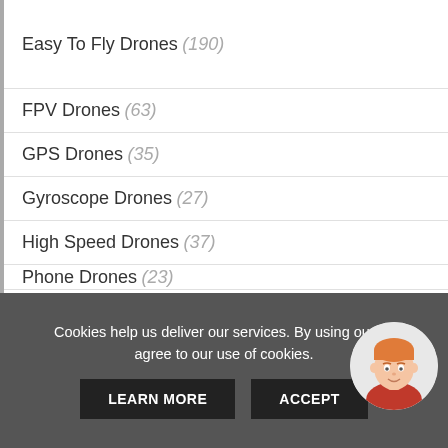Easy To Fly Drones (190)
FPV Drones (63)
GPS Drones (35)
Gyroscope Drones (27)
High Speed Drones (37)
Phone Drones (23)
Large Drones (31)
Outdoor Drones (48)
Ready To Fly Drones (33)
Cookies help us deliver our services. By using our services, you agree to our use of cookies.